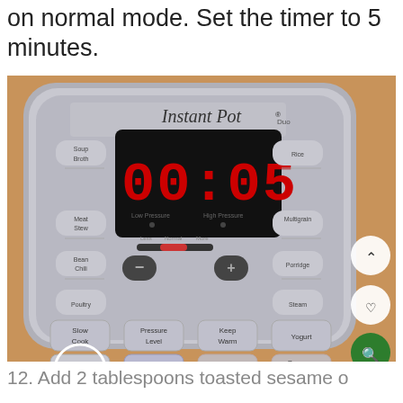on normal mode. Set the timer to 5 minutes.
[Figure (photo): Instant Pot pressure cooker control panel showing timer set to 00:05, with various buttons including Saute (circled), Slow Cook, Pressure Level, Keep Warm, Yogurt, Delay Start, Cancel, Pressure Cook, and mode buttons (Soup Broth, Meat Stew, Bean Chili, Poultry, Rice, Multigrain, Porridge, Steam). The display shows red LED digits reading 00:05. There are also UI overlay icons (up arrow, heart, search) on the right side.]
12. Add 2 tablespoons toasted sesame o